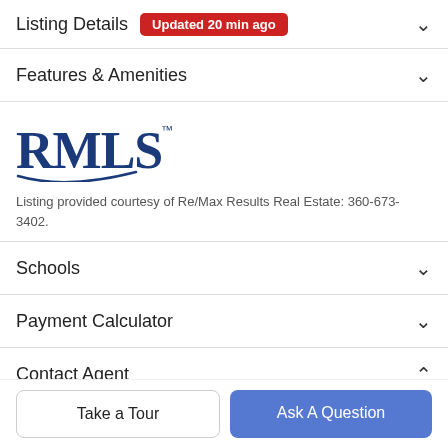Listing Details  Updated 20 min ago
Features & Amenities
[Figure (logo): RMLS logo — blue serif text with decorative underline swash]
Listing provided courtesy of Re/Max Results Real Estate: 360-673-3402.
Schools
Payment Calculator
Contact Agent
Take a Tour
Ask A Question